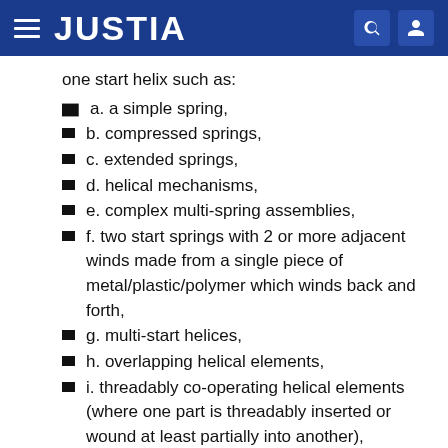JUSTIA
one start helix such as:
a. a simple spring,
b. compressed springs,
c. extended springs,
d. helical mechanisms,
e. complex multi-spring assemblies,
f. two start springs with 2 or more adjacent winds made from a single piece of metal/plastic/polymer which winds back and forth,
g. multi-start helices,
h. overlapping helical elements,
i. threadably co-operating helical elements (where one part is threadably inserted or wound at least partially into another),
j. complex multi material springs